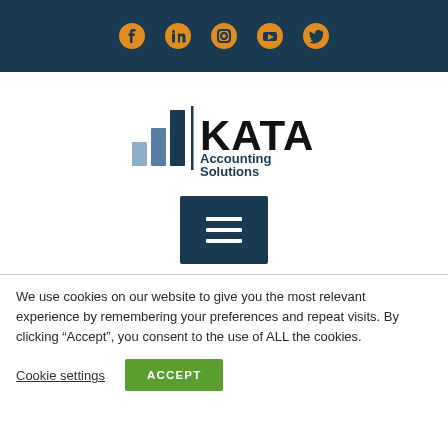Social media icons: Facebook, LinkedIn, Instagram, YouTube, Twitter
[Figure (logo): KATA Accounting Solutions Professional Corporation logo with bar chart graphic in shades of blue and text]
[Figure (other): Dark navy hamburger menu button with three white horizontal lines]
We use cookies on our website to give you the most relevant experience by remembering your preferences and repeat visits. By clicking “Accept”, you consent to the use of ALL the cookies.
Cookie settings | ACCEPT